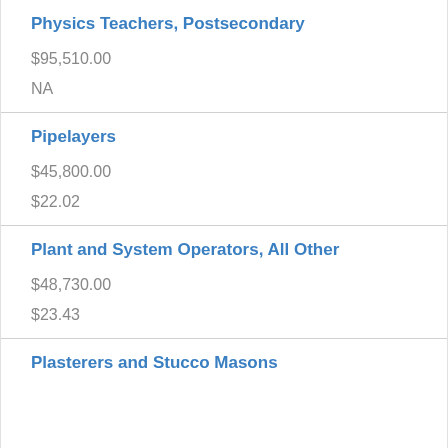| Occupation | Annual Salary | Hourly Rate |
| --- | --- | --- |
| Physics Teachers, Postsecondary | $95,510.00 | NA |
| Pipelayers | $45,800.00 | $22.02 |
| Plant and System Operators, All Other | $48,730.00 | $23.43 |
| Plasterers and Stucco Masons |  |  |